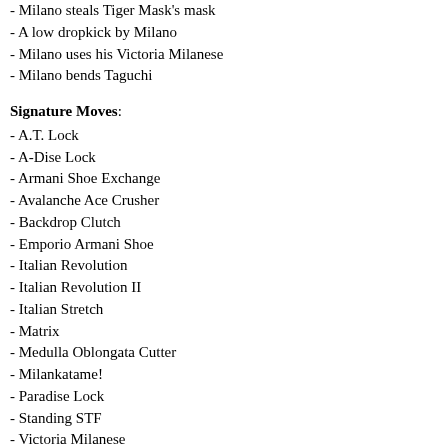- Milano steals Tiger Mask's mask
- A low dropkick by Milano
- Milano uses his Victoria Milanese
- Milano bends Taguchi
Signature Moves:
- A.T. Lock
- A-Dise Lock
- Armani Shoe Exchange
- Avalanche Ace Crusher
- Backdrop Clutch
- Emporio Armani Shoe
- Italian Revolution
- Italian Revolution II
- Italian Stretch
- Matrix
- Medulla Oblongata Cutter
- Milankatame!
- Paradise Lock
- Standing STF
- Victoria Milanese
2007 New Japan Recap:
Milano became a constant fixture in Japan during 2007, first being i Super Jr. Tournament, Milano shocked many when he defeated Liger the tournament. This gave Milano a chance to wrestle in the G1 Cli